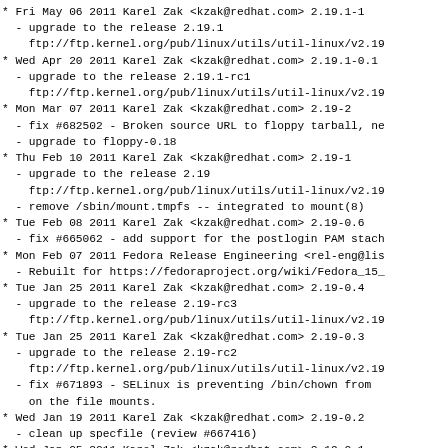* Fri May 06 2011 Karel Zak <kzak@redhat.com> 2.19.1-1
  - upgrade to the release 2.19.1
    ftp://ftp.kernel.org/pub/linux/utils/util-linux/v2.19
* Wed Apr 20 2011 Karel Zak <kzak@redhat.com> 2.19.1-0.1
  - upgrade to the release 2.19.1-rc1
    ftp://ftp.kernel.org/pub/linux/utils/util-linux/v2.19
* Mon Mar 07 2011 Karel Zak <kzak@redhat.com> 2.19-2
  - fix #682502 - Broken source URL to floppy tarball, ne
  - upgrade to floppy-0.18
* Thu Feb 10 2011 Karel Zak <kzak@redhat.com> 2.19-1
  - upgrade to the release 2.19
    ftp://ftp.kernel.org/pub/linux/utils/util-linux/v2.19
  - remove /sbin/mount.tmpfs -- integrated to mount(8)
* Tue Feb 08 2011 Karel Zak <kzak@redhat.com> 2.19-0.6
  - fix #665062 - add support for the postlogin PAM stach
* Mon Feb 07 2011 Fedora Release Engineering <rel-eng@lis
  - Rebuilt for https://fedoraproject.org/wiki/Fedora_15_
* Tue Jan 25 2011 Karel Zak <kzak@redhat.com> 2.19-0.4
  - upgrade to the release 2.19-rc3
    ftp://ftp.kernel.org/pub/linux/utils/util-linux/v2.19
* Tue Jan 25 2011 Karel Zak <kzak@redhat.com> 2.19-0.3
  - upgrade to the release 2.19-rc2
    ftp://ftp.kernel.org/pub/linux/utils/util-linux/v2.19
  - fix #671893 - SELinux is preventing /bin/chown from
    on the file mounts.
* Wed Jan 19 2011 Karel Zak <kzak@redhat.com> 2.19-0.2
  - clean up specfile (review #667416)
* Wed Jan 05 2011 Karel Zak <kzak@redhat.com> 2.19-0.1
  - upgrade to the release 2.19-rc1
    ftp://ftp.kernel.org/pub/linux/utils/util-linux/v2.19